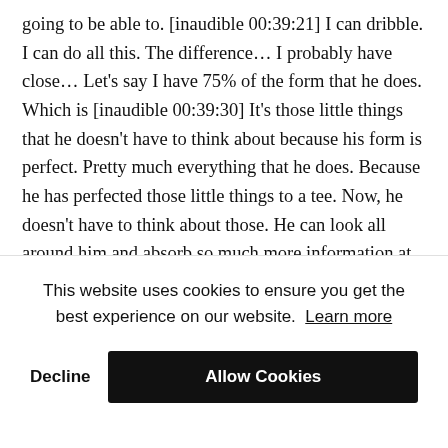going to be able to. [inaudible 00:39:21] I can dribble. I can do all this. The difference… I probably have close… Let's say I have 75% of the form that he does. Which is [inaudible 00:39:30] It's those little things that he doesn't have to think about because his form is perfect. Pretty much everything that he does. Because he has perfected those little things to a tee. Now, he doesn't have to think about those. He can look all around him and absorb so much more information at such a faster rate that he's seeing the game at a different level than
This website uses cookies to ensure you get the best experience on our website. Learn more
Decline   Allow Cookies